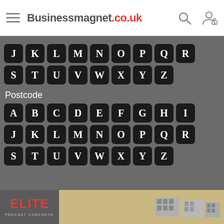Businessmagnet.co.uk
J K L M N O P Q R
S T U V W X Y Z
Postcode
A B C D E F G H I
J K L M N O P Q R
S T U V W X Y Z
[Figure (photo): ELITE PRECAST CONCRETE advertisement banner with concrete block products]